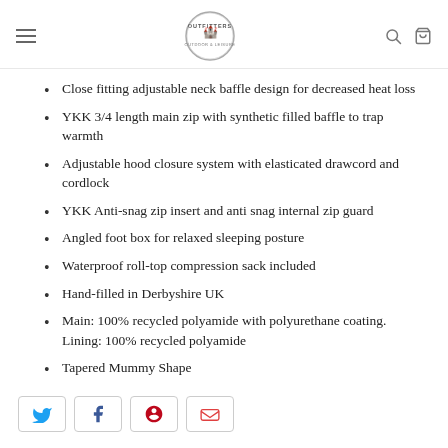Outfitters (logo)
Close fitting adjustable neck baffle design for decreased heat loss
YKK 3/4 length main zip with synthetic filled baffle to trap warmth
Adjustable hood closure system with elasticated drawcord and cordlock
YKK Anti-snag zip insert and anti snag internal zip guard
Angled foot box for relaxed sleeping posture
Waterproof roll-top compression sack included
Hand-filled in Derbyshire UK
Main: 100% recycled polyamide with polyurethane coating. Lining: 100% recycled polyamide
Tapered Mummy Shape
[Figure (other): Social sharing buttons: Twitter, Facebook, Pinterest, Email]